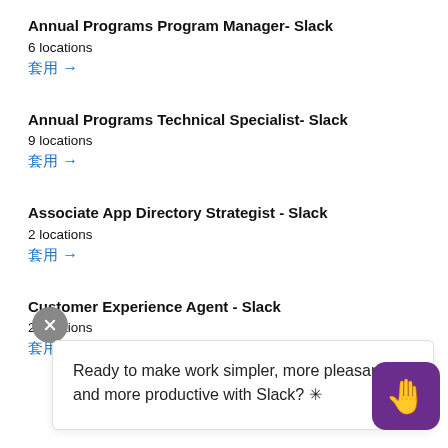Annual Programs Program Manager- Slack
6 locations
套用 →
Annual Programs Technical Specialist- Slack
9 locations
套用 →
Associate App Directory Strategist - Slack
2 locations
套用 →
Customer Experience Agent - Slack
2 locations
套用 →
Ready to make work simpler, more pleasant, and more productive with Slack? ✳